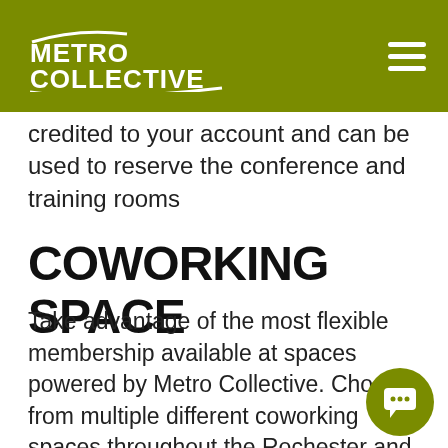METRO COLLECTIVE
credited to your account and can be used to reserve the conference and training rooms
COWORKING SPACE
Take advantage of the most flexible membership available at spaces powered by Metro Collective. Choose from multiple different coworking spaces throughout the Rochester and Finger Lakes region. Seat yourself wherever there is an open spot in the common working area! The mailing address of the building you work out of and a